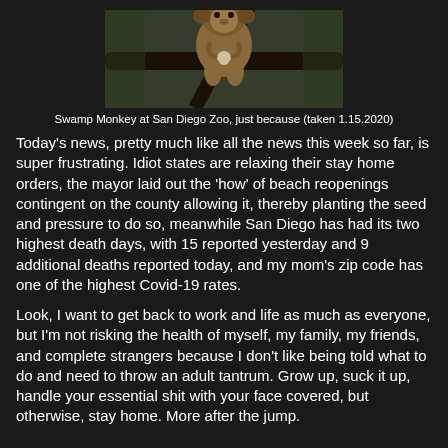[Figure (photo): A swamp monkey perched on a branch at San Diego Zoo, photographed from the front, holding something small in its hands. Dark background with green foliage.]
Swamp Monkey at San Diego Zoo, just because (taken 1.15.2020)
Today's news, pretty much like all the news this week so far, is super frustrating. Idiot states are relaxing their stay home orders, the mayor laid out the 'how' of beach reopenings contingent on the county allowing it, thereby planting the seed and pressure to do so, meanwhile San Diego has had its two highest death days, with 15 reported yesterday and 9 additional deaths reported today, and my mom's zip code has one of the highest Covid-19 rates.
Look, I want to get back to work and life as much as everyone, but I'm not risking the health of myself, my family, my friends, and complete strangers because I don't like being told what to do and need to throw an adult tantrum. Grow up, suck it up, handle your essential shit with your face covered, but otherwise, stay home. More after the jump.